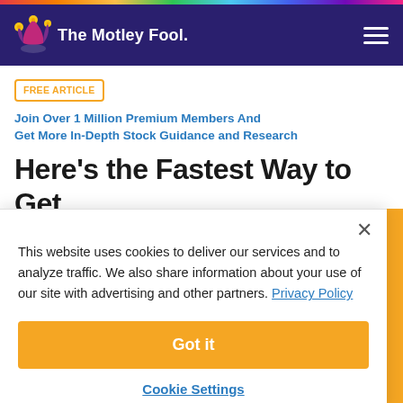The Motley Fool
FREE ARTICLE  Join Over 1 Million Premium Members And Get More In-Depth Stock Guidance and Research
Here's the Fastest Way to Get Your Tax Refund
This website uses cookies to deliver our services and to analyze traffic. We also share information about your use of our site with advertising and other partners. Privacy Policy
Got it
Cookie Settings